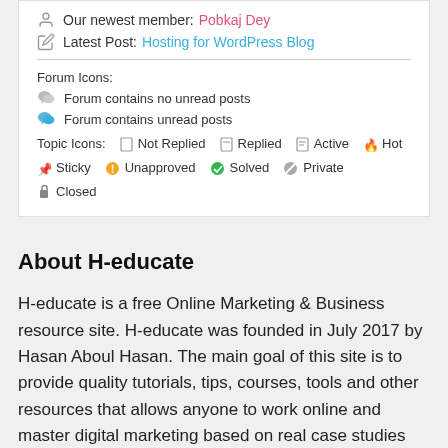Our newest member: Pobkaj Dey
Latest Post: Hosting for WordPress Blog
Forum Icons:
Forum contains no unread posts
Forum contains unread posts
Topic Icons: Not Replied  Replied  Active  Hot  Sticky  Unapproved  Solved  Private  Closed
About H-educate
H-educate is a free Online Marketing & Business resource site. H-educate was founded in July 2017 by Hasan Aboul Hasan. The main goal of this site is to provide quality tutorials, tips, courses, tools and other resources that allows anyone to work online and master digital marketing based on real case studies